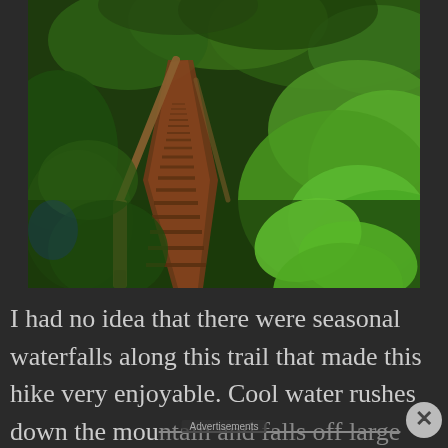[Figure (photo): A lush green forest trail with wooden log steps ascending a hillside, surrounded by dense green foliage, large-leafed plants, and trees. A wooden handrail post is visible on the left side. The path winds upward into the forest.]
I had no idea that there were seasonal waterfalls along this trail that made this hike very enjoyable. Cool water rushes down the mountain and falls off large boulders into